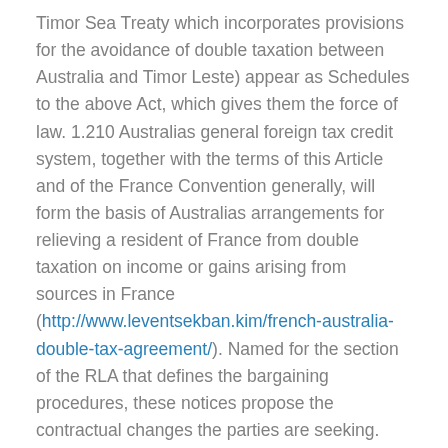Timor Sea Treaty which incorporates provisions for the avoidance of double taxation between Australia and Timor Leste) appear as Schedules to the above Act, which gives them the force of law. 1.210 Australias general foreign tax credit system, together with the terms of this Article and of the France Convention generally, will form the basis of Australias arrangements for relieving a resident of France from double taxation on income or gains arising from sources in France (http://www.leventsekban.kim/french-australia-double-tax-agreement/). Named for the section of the RLA that defines the bargaining procedures, these notices propose the contractual changes the parties are seeking. The railroads delivered their Section 6 notices in the new round of freight rail bargaining on Nov. 1, 2019. Ten of the 12 rail labor unionsrepresenting near 85% of some 125,000 unionized rail workershave formed a coordinated bargaining coalition for this negotiating round. They are: The RLA includes numerous safeguards that help overcome bargaining stalemates.